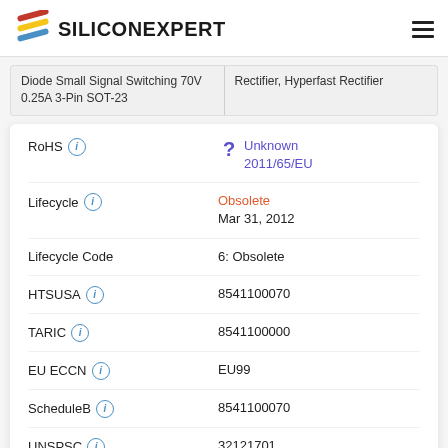SiliconExpert
Diode Small Signal Switching 70V 0.25A 3-Pin SOT-23 | Rectifier, Hyperfast Rectifier
| Property | Value |
| --- | --- |
| RoHS | Unknown 2011/65/EU |
| Lifecycle | Obsolete
Mar 31, 2012 |
| Lifecycle Code | 6: Obsolete |
| HTSUSA | 8541100070 |
| TARIC | 8541100000 |
| EU ECCN | EU99 |
| ScheduleB | 8541100070 |
| UNSPSC | 32121701 |